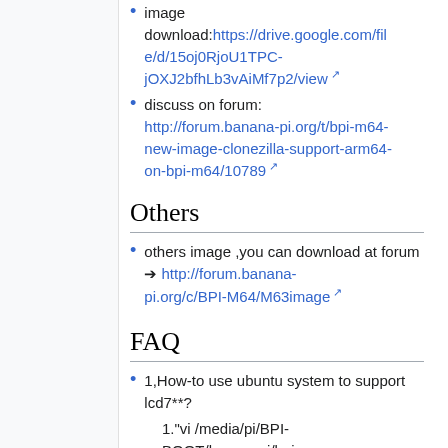image download: https://drive.google.com/file/d/15oj0RjoU1TPC-jOXJ2bfhLb3vAiMf7p2/view
discuss on forum: http://forum.banana-pi.org/t/bpi-m64-new-image-clonezilla-support-arm64-on-bpi-m64/10789
Others
others image ,you can download at forum → http://forum.banana-pi.org/c/BPI-M64/M63image
FAQ
1,How-to use ubuntu system to support lcd7**?
1."vi /media/pi/BPI-BOOT/bananapi/bpi-